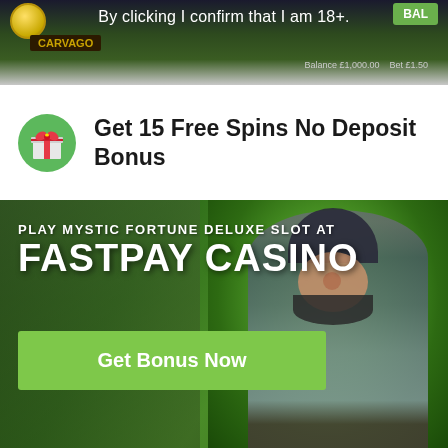[Figure (screenshot): Casino game interface screenshot bar showing gold coin icon, age confirmation text and green button]
By clicking I confirm that I am 18+.
Get 15 Free Spins No Deposit Bonus
[Figure (photo): Casino promotional banner for FastPay Casino showing a 3D gnome/dwarf character giving thumbs up against a green forest background. Text reads: PLAY MYSTIC FORTUNE DELUXE SLOT AT FASTPAY CASINO with a Get Bonus Now green button.]